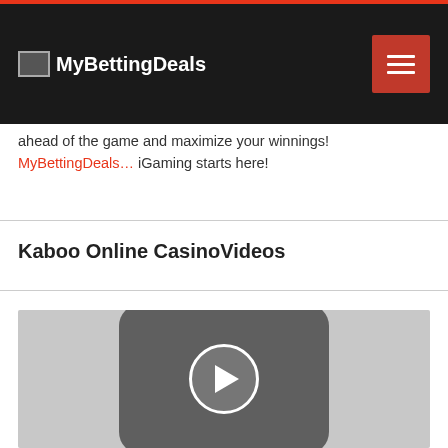MyBettingDeals
ahead of the game and maximize your winnings! MyBettingDeals… iGaming starts here!
Kaboo Online CasinoVideos
[Figure (screenshot): Video thumbnail placeholder showing a YouTube-style play button icon (rounded rectangle with play circle) on a grey background]